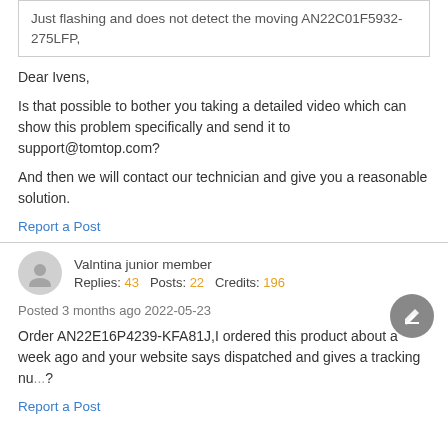Just flashing and does not detect the moving AN22C01F5932-275LFP,
Dear Ivens,
Is that possible to bother you taking a detailed video which can show this problem specifically and send it to support@tomtop.com?
And then we will contact our technician and give you a reasonable solution.
Report a Post
Valntina junior member
Replies: 43   Posts: 22   Credits: 196
Posted 3 months ago 2022-05-23
#1263
Order AN22E16P4239-KFA81J,I ordered this product about a week ago and your website says dispatched and gives a tracking nu... ?
Report a Post